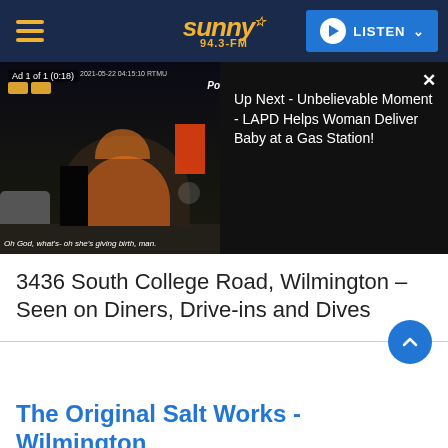sunny 94.3-FM | LISTEN
[Figure (screenshot): Video player showing night scene of gas station with police officer. Ad 1 of 1 (0:18). Up Next - Unbelievable Moment - LAPD Helps Woman Deliver Baby at a Gas Station! Caption: Oh God, what's- oh she's giving birth, man.]
3436 South College Road, Wilmington – Seen on Diners, Drive-ins and Dives
The Original Salt Works - Wilmington
6301 Oleander Drive, Wilmington – Seen on